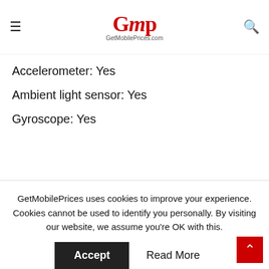GMP GetMobilePrices.com
Accelerometer: Yes
Ambient light sensor: Yes
Gyroscope: Yes
GetMobilePrices uses cookies to improve your experience. Cookies cannot be used to identify you personally. By visiting our website, we assume you're OK with this.
Accept   Read More